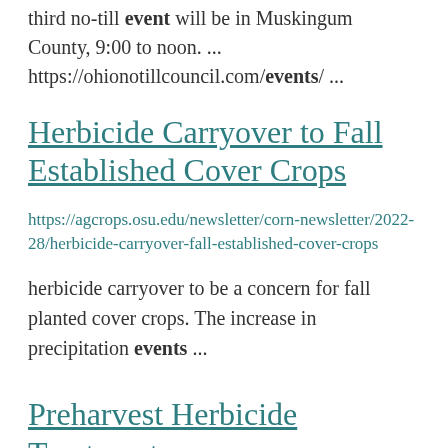third no-till event will be in Muskingum County, 9:00 to noon. ... https://ohionotillcouncil.com/events/ ...
Herbicide Carryover to Fall Established Cover Crops
https://agcrops.osu.edu/newsletter/corn-newsletter/2022-28/herbicide-carryover-fall-established-cover-crops
herbicide carryover to be a concern for fall planted cover crops. The increase in precipitation events ...
Preharvest Herbicide Treatments for Weed Desiccation